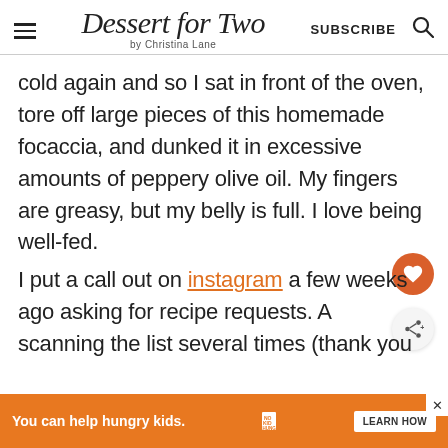Dessert for Two by Christina Lane | SUBSCRIBE
cold again and so I sat in front of the oven, tore off large pieces of this homemade focaccia, and dunked it in excessive amounts of peppery olive oil. My fingers are greasy, but my belly is full. I love being well-fed.
I put a call out on instagram a few weeks ago asking for recipe requests. A scanning the list several times (thank you g
[Figure (other): What's Next widget showing Ginger Peach Cupcakes]
[Figure (other): Advertisement banner: You can help hungry kids. No Kid Hungry. Learn How.]